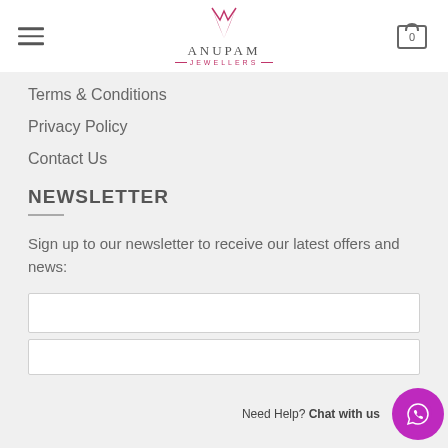Anupam Jewellers
Terms & Conditions
Privacy Policy
Contact Us
NEWSLETTER
Sign up to our newsletter to receive our latest offers and news:
Need Help? Chat with us